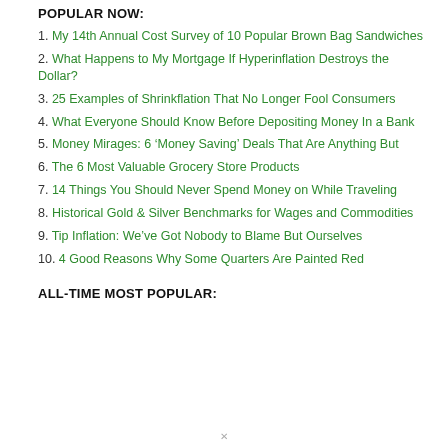POPULAR NOW:
1. My 14th Annual Cost Survey of 10 Popular Brown Bag Sandwiches
2. What Happens to My Mortgage If Hyperinflation Destroys the Dollar?
3. 25 Examples of Shrinkflation That No Longer Fool Consumers
4. What Everyone Should Know Before Depositing Money In a Bank
5. Money Mirages: 6 ‘Money Saving’ Deals That Are Anything But
6. The 6 Most Valuable Grocery Store Products
7. 14 Things You Should Never Spend Money on While Traveling
8. Historical Gold & Silver Benchmarks for Wages and Commodities
9. Tip Inflation: We’ve Got Nobody to Blame But Ourselves
10. 4 Good Reasons Why Some Quarters Are Painted Red
ALL-TIME MOST POPULAR: